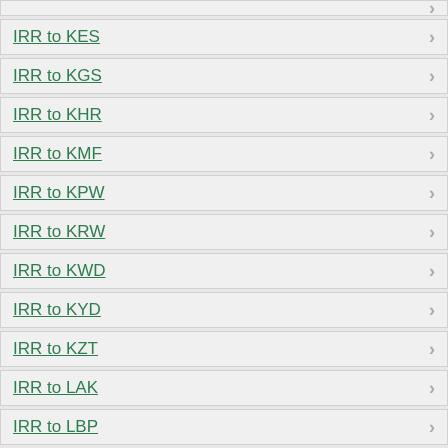IRR to KES
IRR to KGS
IRR to KHR
IRR to KMF
IRR to KPW
IRR to KRW
IRR to KWD
IRR to KYD
IRR to KZT
IRR to LAK
IRR to LBP
IRR to LKR